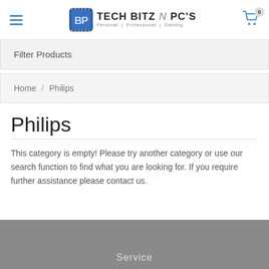Tech Bitz N PC's - Personal | Professional | Gaming
Filter Products
Home / Philips
Philips
This category is empty! Please try another category or use our search function to find what you are looking for. If you require further assistance please contact us.
Service